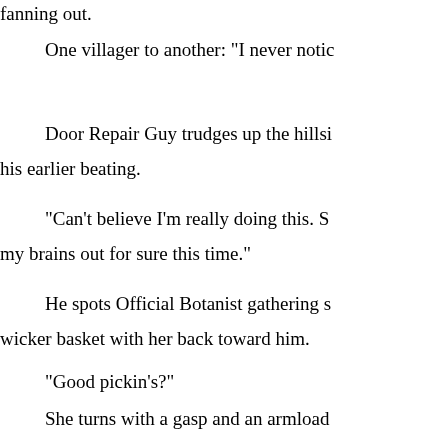fanning out.
One villager to another: "I never notic
Door Repair Guy trudges up the hillsi his earlier beating.
"Can't believe I'm really doing this.  S my brains out for sure this time."
He spots Official Botanist gathering s wicker basket with her back toward him.
"Good pickin's?"
She turns with a gasp and an armload stands there trying to think of something as agitated as he is.
DRG: "So . . . ah . . . whatya got there
"Ah.  Lupinus polyphyllus, Angelica at multiradiata, Rudbeckia serotina, and .